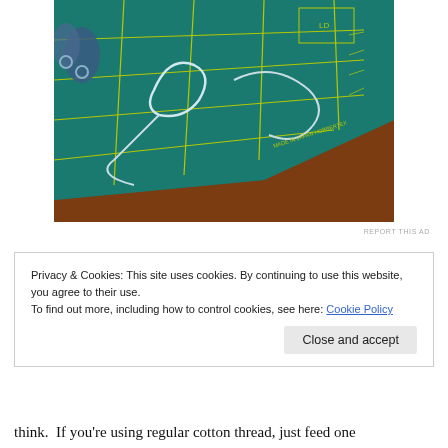[Figure (photo): A teal/green self-healing cutting mat with yellow grid lines, showing white thread or cord arranged in loops and curves on its surface, with scissors partially visible in the upper left corner. The mat reads 'MADE IN JAPAN HOBBERTEX' along one edge.]
REPORT THIS AD
Privacy & Cookies: This site uses cookies. By continuing to use this website, you agree to their use.
To find out more, including how to control cookies, see here: Cookie Policy
Close and accept
think.  If you're using regular cotton thread, just feed one